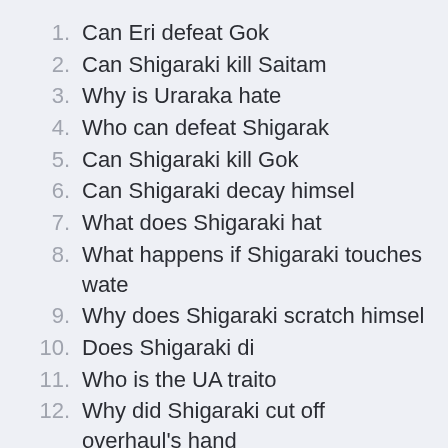1. Can Eri defeat Gok
2. Can Shigaraki kill Saitam
3. Why is Uraraka hate
4. Who can defeat Shigarak
5. Can Shigaraki kill Gok
6. Can Shigaraki decay himsel
7. What does Shigaraki hat
8. What happens if Shigaraki touches wate
9. Why does Shigaraki scratch himsel
10. Does Shigaraki di
11. Who is the UA traito
12. Why did Shigaraki cut off overhaul's hand